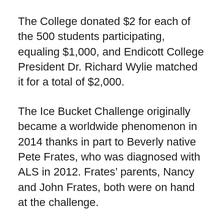The College donated $2 for each of the 500 students participating, equaling $1,000, and Endicott College President Dr. Richard Wylie matched it for a total of $2,000.
The Ice Bucket Challenge originally became a worldwide phenomenon in 2014 thanks in part to Beverly native Pete Frates, who was diagnosed with ALS in 2012. Frates' parents, Nancy and John Frates, both were on hand at the challenge.
“We appreciate you being here,” Nancy Frates told the Endicott community Wednesday. “We want you to know what it means, we want you to know how much it means to our family, how much it means to the ALS community, that you all do all you do.